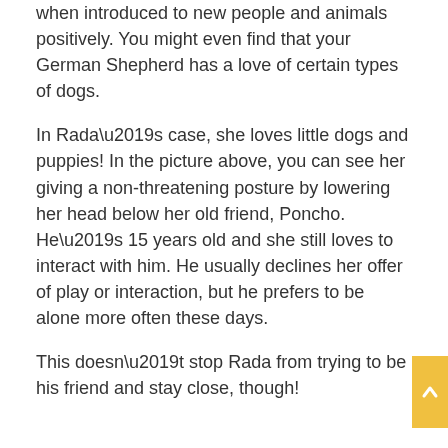when introduced to new people and animals positively. You might even find that your German Shepherd has a love of certain types of dogs.
In Rada’s case, she loves little dogs and puppies! In the picture above, you can see her giving a non-threatening posture by lowering her head below her old friend, Poncho. He’s 15 years old and she still loves to interact with him. He usually declines her offer of play or interaction, but he prefers to be alone more often these days.
This doesn’t stop Rada from trying to be his friend and stay close, though!